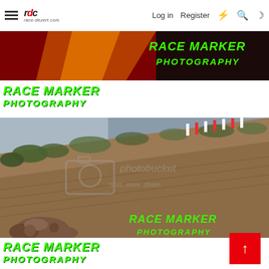RDC race-dezert.com — Log in | Register
[Figure (photo): Banner image with red racing vehicle and green 'RACE MARKER PHOTOGRAPHY' text overlay on dark background]
RACE MARKER PHOTOGRAPHY
[Figure (photo): Photobucket watermarked image showing a steep dirt hillside with race course marking flags/pylons along the top ridge, desert vegetation visible, rocky terrain in foreground. Green 'RACE MARKER PHOTOGRAPHY' text overlay in bottom right.]
RACE MARKER PHOTOGRAPHY